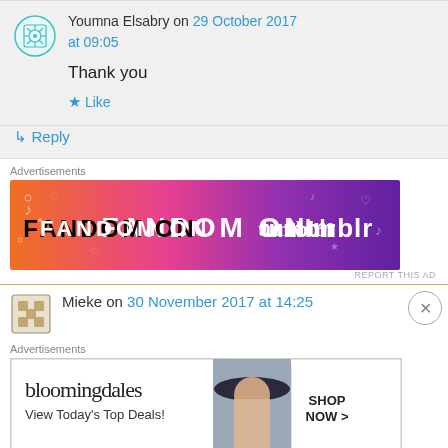Youmna Elsabry on 29 October 2017 at 09:05
Thank you
Like
Reply
Advertisements
[Figure (illustration): Fandom on Tumblr advertisement banner with orange-to-purple gradient background and decorative music/heart doodles]
REPORT THIS AD
Mieke on 30 November 2017 at 14:25
Advertisements
[Figure (illustration): Bloomingdales advertisement: bloomingdales logo, View Today's Top Deals!, woman in hat image, SHOP NOW > button]